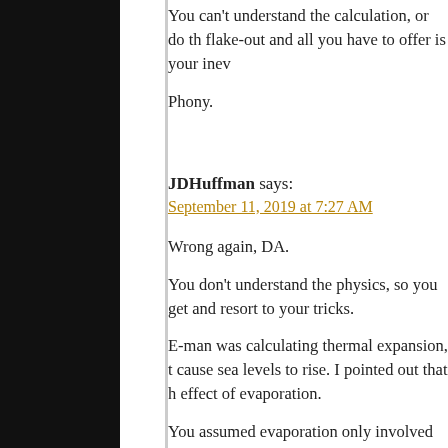You can't understand the calculation, or do th… flake-out and all you have to offer is your inev…
Phony.
JDHuffman says:
September 11, 2019 at 7:27 AM
Wrong again, DA.
You don't understand the physics, so you get… and resort to your tricks.
E-man was calculating thermal expansion, t… cause sea levels to rise. I pointed out that h… effect of evaporation.
You assumed evaporation only involved the m… But, you didn't realize the major effect is th… caused by evaporation. You failed to understa… surface temperatures for every 1 kg of water th…